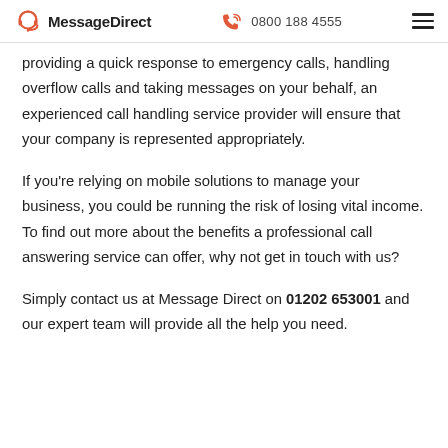MessageDirect | 0800 188 4555
providing a quick response to emergency calls, handling overflow calls and taking messages on your behalf, an experienced call handling service provider will ensure that your company is represented appropriately.
If you're relying on mobile solutions to manage your business, you could be running the risk of losing vital income. To find out more about the benefits a professional call answering service can offer, why not get in touch with us?
Simply contact us at Message Direct on 01202 653001 and our expert team will provide all the help you need.